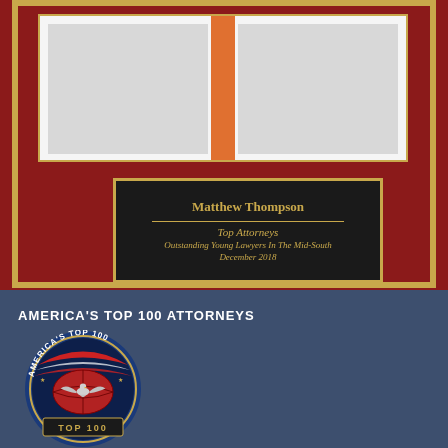[Figure (photo): Framed award plaque with mahogany background and gold border. The frame contains a certificate area with orange accent bar in center, and a black plaque with gold text reading: Matthew Thompson, Top Attorneys, Outstanding Young Lawyers In The Mid-South, December 2018.]
AMERICA'S TOP 100 ATTORNEYS
[Figure (logo): America's Top 100 Attorneys circular badge logo with blue border, eagle emblem, red and white striped ribbon, and text reading AMERICA'S TOP 100 at top and TOP 100 at bottom.]